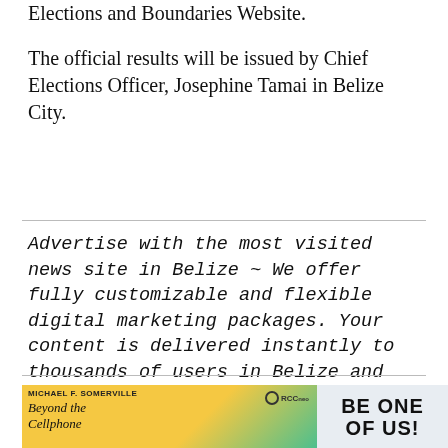Elections and Boundaries Website.

The official results will be issued by Chief Elections Officer, Josephine Tamai in Belize City.
Advertise with the most visited news site in Belize ~ We offer fully customizable and flexible digital marketing packages. Your content is delivered instantly to thousands of users in Belize and abroad! Contact us at marketing@breakingbelizenews.com or call us at 501-601-0315.
[Figure (other): Two advertisement banners side by side. Left banner shows a book cover 'Beyond the Cellphone' by Michael F. Somerville with RCCneo logo on yellow-green background. Right banner shows 'BE ONE OF US!' text on light blue-grey background.]